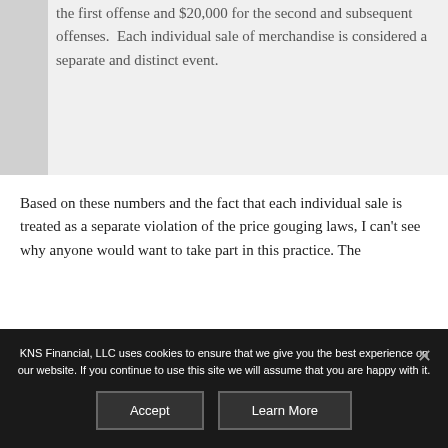penalties of up to $10,000 for the first offense and $20,000 for the second and subsequent offenses. Each individual sale of merchandise is considered a separate and distinct event.
Based on these numbers and the fact that each individual sale is treated as a separate violation of the price gouging laws, I can't see why anyone would want to take part in this practice. The
KNS Financial, LLC uses cookies to ensure that we give you the best experience on our website. If you continue to use this site we will assume that you are happy with it.